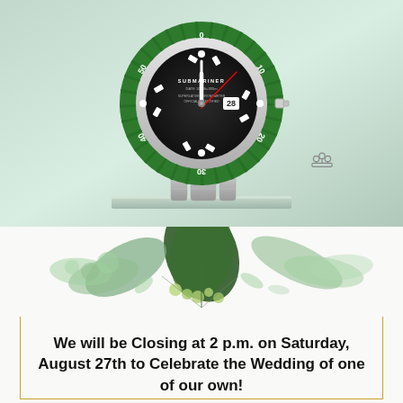[Figure (photo): Rolex Submariner watch with green bezel and black dial, displaying date '28', on a silver bracelet, displayed on a glass shelf against a light green background. Rolex crown logo visible in lower right.]
[Figure (illustration): Watercolor floral arrangement with green eucalyptus leaves, dark green foliage, and light green berries/botanicals, used as decorative header for announcement card with gold border frame.]
We will be Closing at 2 p.m. on Saturday, August 27th to Celebrate the Wedding of one of our own!